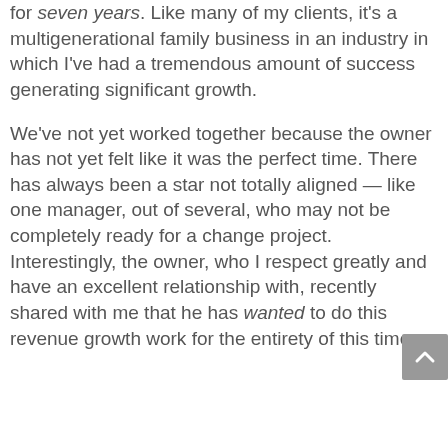for seven years. Like many of my clients, it's a multigenerational family business in an industry in which I've had a tremendous amount of success generating significant growth.
We've not yet worked together because the owner has not yet felt like it was the perfect time. There has always been a star not totally aligned — like one manager, out of several, who may not be completely ready for a change project. Interestingly, the owner, who I respect greatly and have an excellent relationship with, recently shared with me that he has wanted to do this revenue growth work for the entirety of this time.